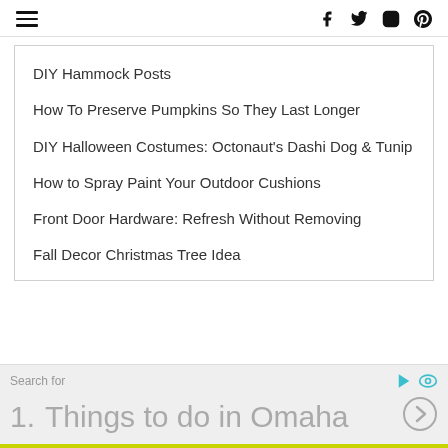Navigation bar with hamburger menu and social icons: Facebook, Twitter, Instagram, Pinterest
DIY Hammock Posts
How To Preserve Pumpkins So They Last Longer
DIY Halloween Costumes: Octonaut's Dashi Dog & Tunip
How to Spray Paint Your Outdoor Cushions
Front Door Hardware: Refresh Without Removing
Fall Decor Christmas Tree Idea
Search for
1.  Things to do in Omaha